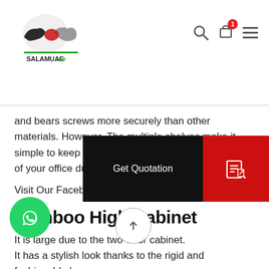SALAMUAE.ae — Perfect Luxury Store
and bears screws more securely than other materials. However, The multiple shelves make it simple to keep files and paperwork organized. For all of your office duties, Salam UAE has the finest an
Visit Our Facebook page Salam UAE
Bamboo High Cabinet
It is large due to the two-door cabinet.
It has a stylish look thanks to the rigid and fashionable h
Because of its low height, it is easy to accommodate.
It has a long-lasting exterior due to its hardness.